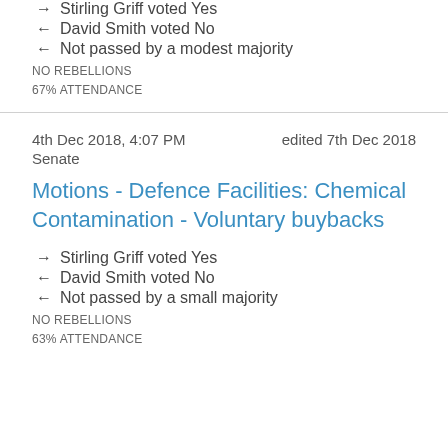→ Stirling Griff voted Yes
← David Smith voted No
← Not passed by a modest majority
NO REBELLIONS
67% ATTENDANCE
4th Dec 2018, 4:07 PM    edited 7th Dec 2018
Senate
Motions - Defence Facilities: Chemical Contamination - Voluntary buybacks
→ Stirling Griff voted Yes
← David Smith voted No
← Not passed by a small majority
NO REBELLIONS
63% ATTENDANCE